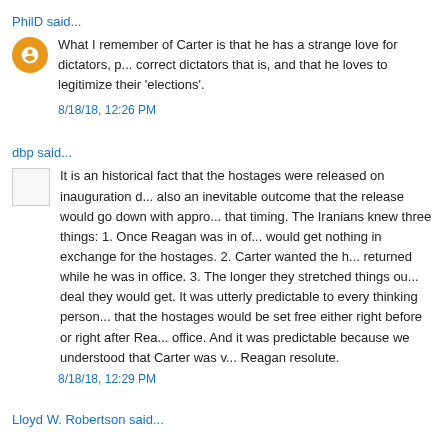PhilD said...
What I remember of Carter is that he has a strange love for dictators, p... correct dictators that is, and that he loves to legitimize their 'elections'.
8/18/18, 12:26 PM
dbp said...
It is an historical fact that the hostages were released on inauguration d... also an inevitable outcome that the release would go down with appro... that timing. The Iranians knew three things: 1. Once Reagan was in of... would get nothing in exchange for the hostages. 2. Carter wanted the h... returned while he was in office. 3. The longer they stretched things ou... deal they would get. It was utterly predictable to every thinking person... that the hostages would be set free either right before or right after Rea... office. And it was predictable because we understood that Carter was v... Reagan resolute.
8/18/18, 12:29 PM
Lloyd W. Robertson said...